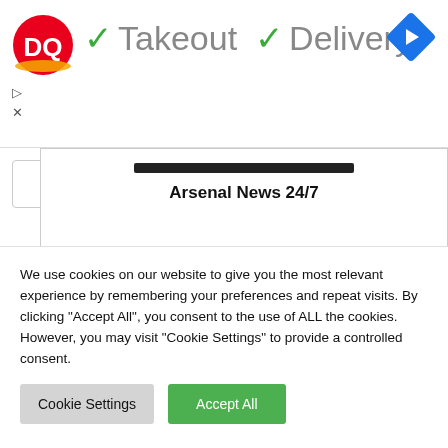[Figure (screenshot): Dairy Queen advertisement banner with DQ logo, green checkmarks next to 'Takeout' and 'Delivery' text, and a blue navigation arrow icon on the right]
▷
✕
Arsenal News 24/7
SUPPORT ARSEBLOG
We use cookies on our website to give you the most relevant experience by remembering your preferences and repeat visits. By clicking "Accept All", you consent to the use of ALL the cookies. However, you may visit "Cookie Settings" to provide a controlled consent.
Cookie Settings   Accept All